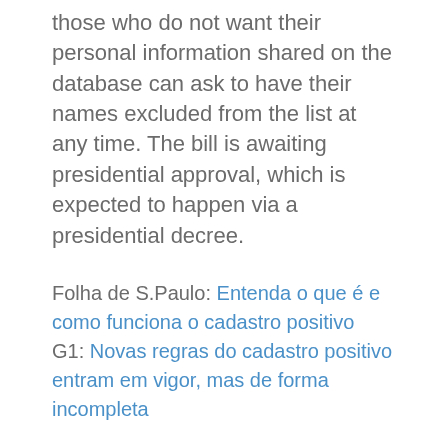those who do not want their personal information shared on the database can ask to have their names excluded from the list at any time. The bill is awaiting presidential approval, which is expected to happen via a presidential decree.
Folha de S.Paulo: Entenda o que é e como funciona o cadastro positivo
G1: Novas regras do cadastro positivo entram em vigor, mas de forma incompleta
4. Economic Freedom bill moves ahead in Congress